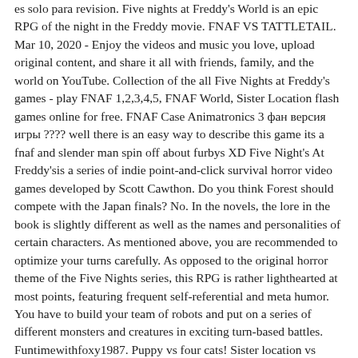es solo para revision. Five nights at Freddy's World is an epic RPG of the night in the Freddy movie. FNAF VS TATTLETAIL. Mar 10, 2020 - Enjoy the videos and music you love, upload original content, and share it all with friends, family, and the world on YouTube. Collection of the all Five Nights at Freddy's games - play FNAF 1,2,3,4,5, FNAF World, Sister Location flash games online for free. FNAF Case Animatronics 3 фан версия игры ???? well there is an easy way to describe this game its a fnaf and slender man spin off about furbys XD Five Night's At Freddy'sis a series of indie point-and-click survival horror video games developed by Scott Cawthon. Do you think Forest should compete with the Japan finals? No. In the novels, the lore in the book is slightly different as well as the names and personalities of certain characters. As mentioned above, you are recommended to optimize your turns carefully. As opposed to the original horror theme of the Five Nights series, this RPG is rather lighthearted at most points, featuring frequent self-referential and meta humor. You have to build your team of robots and put on a series of different monsters and creatures in exciting turn-based battles. Funtimewithfoxy1987. Puppy vs four cats! Sister location vs